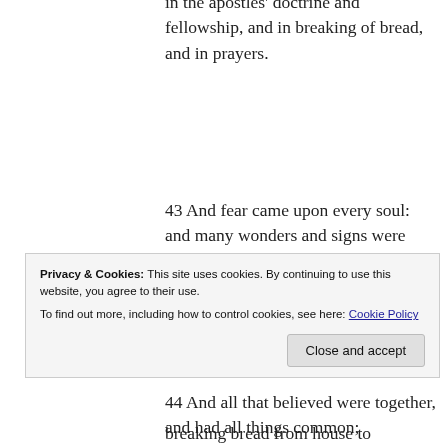in the apostles' doctrine and fellowship, and in breaking of bread, and in prayers.
43 And fear came upon every soul: and many wonders and signs were done by the apostles.
44 And all that believed were together, and had all things common;
45 And sold their possessions and goods, and parted them to all men…
Privacy & Cookies: This site uses cookies. By continuing to use this website, you agree to their use.
To find out more, including how to control cookies, see here: Cookie Policy
Close and accept
breaking bread from house to